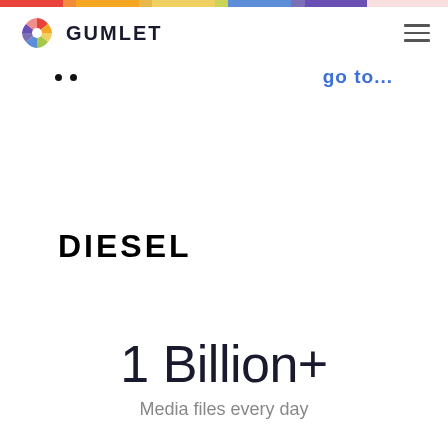[Figure (other): Gumlet logo with colorful pinwheel icon and hamburger menu navigation bar]
go to...
[Figure (logo): DIESEL brand logo in bold black uppercase letters]
1 Billion+
Media files every day